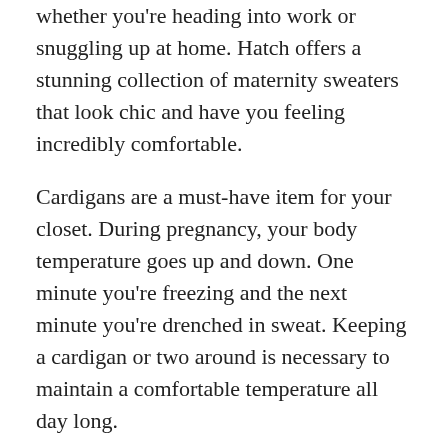whether you're heading into work or snuggling up at home. Hatch offers a stunning collection of maternity sweaters that look chic and have you feeling incredibly comfortable.
Cardigans are a must-have item for your closet. During pregnancy, your body temperature goes up and down. One minute you're freezing and the next minute you're drenched in sweat. Keeping a cardigan or two around is necessary to maintain a comfortable temperature all day long.
Maternity knitwear cardigans are also easy to dress up or down. Throw one over a dress for your next date night. Take one along with you while you're traveling. You will get tons of use out of your cotton or cashmere cardigan throughout pregnancy